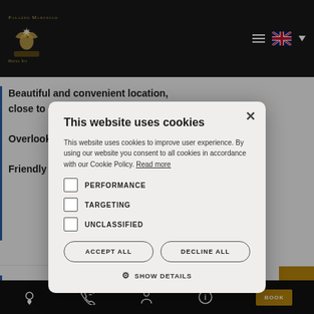Palazzo Marcello
Beautiful and convenient location, close to the station a... Overlookin... Friendly an...
[Figure (screenshot): Cookie consent modal dialog overlay on a hotel website (Palazzo Marcello). Modal contains title 'This website uses cookies', body text, checkboxes for PERFORMANCE, TARGETING, UNCLASSIFIED, and buttons ACCEPT ALL and DECLINE ALL, plus SHOW DETAILS link.]
Wonderful...